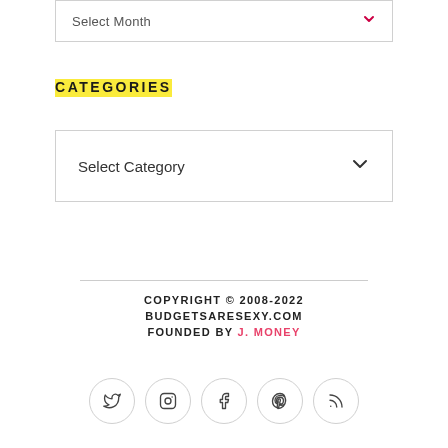Select Month
CATEGORIES
Select Category
COPYRIGHT © 2008-2022 BUDGETSARESEXY.COM FOUNDED BY J. MONEY
[Figure (other): Row of 5 social media icon circles: Twitter, Instagram, Facebook, Pinterest, RSS]